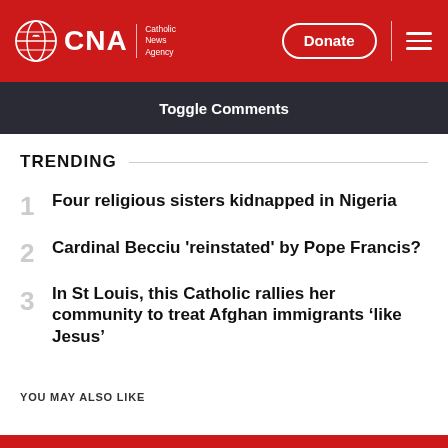CNA | Catholic News Agency — Donate
Toggle Comments
TRENDING
1 Four religious sisters kidnapped in Nigeria
2 Cardinal Becciu 'reinstated' by Pope Francis?
3 In St Louis, this Catholic rallies her community to treat Afghan immigrants ‘like Jesus’
YOU MAY ALSO LIKE